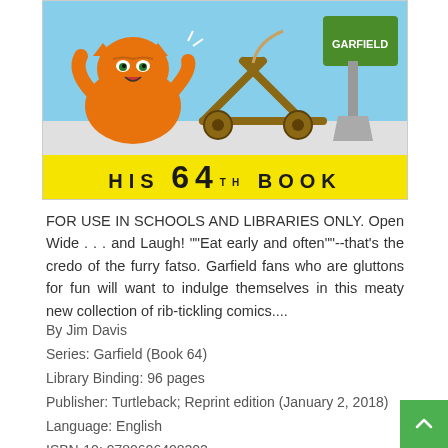[Figure (illustration): Garfield comic book cover showing Garfield the cat with a wooden catapult/construction vehicle. Text on a yellow banner reads 'HIS 64TH BOOK'. A green shovel/bucket labeled 'GARFIELD' is visible in the upper right.]
FOR USE IN SCHOOLS AND LIBRARIES ONLY. Open Wide . . . and Laugh! ""Eat early and often""--that's the credo of the furry fatso. Garfield fans who are gluttons for fun will want to indulge themselves in this meaty new collection of rib-tickling comics....
By Jim Davis
Series: Garfield (Book 64)
Library Binding: 96 pages
Publisher: Turtleback; Reprint edition (January 2, 2018)
Language: English
ISBN-10: 9780606408202
ISBN-13: 978-0606408202
ASIN: 0606408207